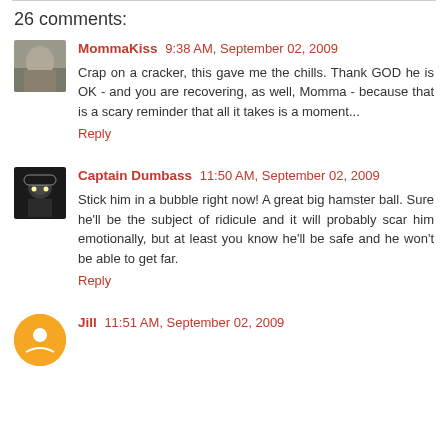26 comments:
MommaKiss 9:38 AM, September 02, 2009
Crap on a cracker, this gave me the chills. Thank GOD he is OK - and you are recovering, as well, Momma - because that is a scary reminder that all it takes is a moment...
Reply
Captain Dumbass 11:50 AM, September 02, 2009
Stick him in a bubble right now! A great big hamster ball. Sure he'll be the subject of ridicule and it will probably scar him emotionally, but at least you know he'll be safe and he won't be able to get far.
Reply
Jill 11:51 AM, September 02, 2009